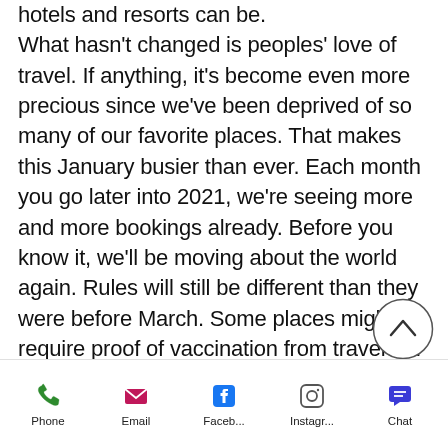hotels and resorts can be. What hasn't changed is peoples' love of travel. If anything, it's become even more precious since we've been deprived of so many of our favorite places. That makes this January busier than ever. Each month you go later into 2021, we're seeing more and more bookings already. Before you know it, we'll be moving about the world again. Rules will still be different than they were before March. Some places might require proof of vaccination from travelers. Others will still require negative PCR tests in a certain time frame. More people will be traveling, which will make navigating the
[Figure (other): A circular scroll-to-top button with an upward chevron arrow]
Phone  Email  Faceb...  Instagr...  Chat